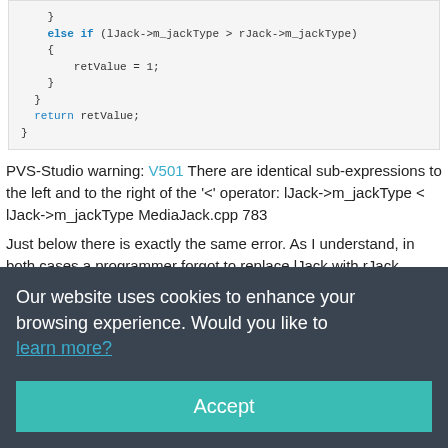[Figure (screenshot): Code block showing C++ snippet with else if, retValue = 1, return retValue statements]
PVS-Studio warning: V501 There are identical sub-expressions to the left and to the right of the '<' operator: lJack->m_jackType < lJack->m_jackType MediaJack.cpp 783
Just below there is exactly the same error. As I understand, in both cases a programmer forgot to replace lJack with rJack.
The code of CryEngine V (C++) project:
[Figure (screenshot): Code block showing bool CompareRotation(const Quat& q1, const Quat& q2, float epsilon) {]
Our website uses cookies to enhance your browsing experience. Would you like to learn more?
Accept